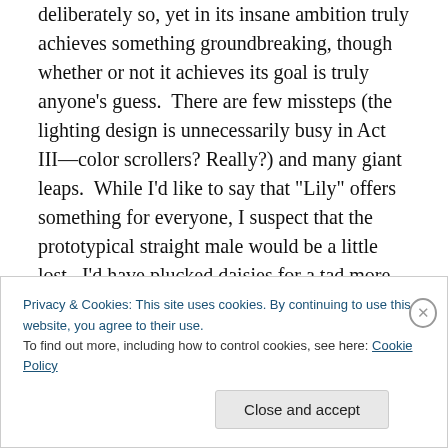deliberately so, yet in its insane ambition truly achieves something groundbreaking, though whether or not it achieves its goal is truly anyone’s guess. There are few missteps (the lighting design is unnecessarily busy in Act III—color scrollers? Really?) and many giant leaps. While I’d like to say that “Lily” offers something for everyone, I suspect that the prototypical straight male would be a little lost. I’d have plucked daisies for a tad more manliness in the direction of the Grooms, and there were at least two moments in the piece where I found myself the only one in the crowd laughing and wondered if I were, in fact, the
Privacy & Cookies: This site uses cookies. By continuing to use this website, you agree to their use.
To find out more, including how to control cookies, see here: Cookie Policy
Close and accept